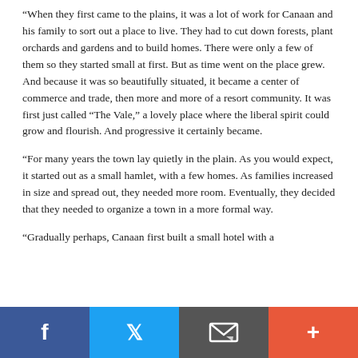“When they first came to the plains, it was a lot of work for Canaan and his family to sort out a place to live. They had to cut down forests, plant orchards and gardens and to build homes. There were only a few of them so they started small at first. But as time went on the place grew. And because it was so beautifully situated, it became a center of commerce and trade, then more and more of a resort community. It was first just called “The Vale,” a lovely place where the liberal spirit could grow and flourish. And progressive it certainly became.
“For many years the town lay quietly in the plain. As you would expect, it started out as a small hamlet, with a few homes. As families increased in size and spread out, they needed more room. Eventually, they decided that they needed to organize a town in a more formal way.
“Gradually perhaps, Canaan first built a small hotel with a